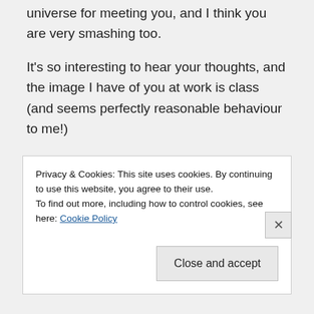universe for meeting you, and I think you are very smashing too.
It's so interesting to hear your thoughts, and the image I have of you at work is class (and seems perfectly reasonable behaviour to me!)
Yes, you are right too – I should make more effort to switch off the ridiculous chatter. Barbara Taylor Bradford here I come…
T...
Privacy & Cookies: This site uses cookies. By continuing to use this website, you agree to their use.
To find out more, including how to control cookies, see here: Cookie Policy
Close and accept